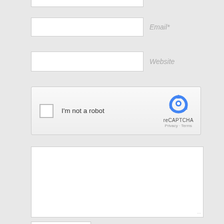[Figure (screenshot): Partial top input field (name/comment field partially visible at top)]
Email*
Website
[Figure (other): reCAPTCHA widget with checkbox labeled 'I'm not a robot', reCAPTCHA logo, Privacy and Terms links]
[Figure (screenshot): Large empty textarea for comment input with resize handle at bottom right]
[Figure (screenshot): Partial button visible at bottom of page]